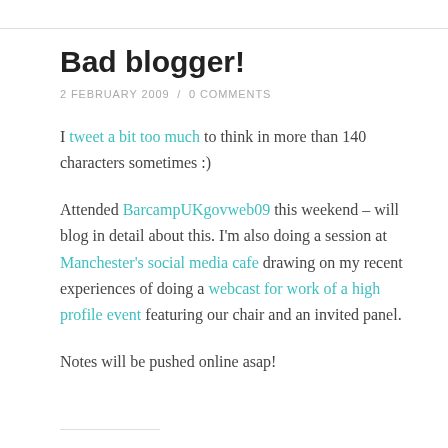Bad blogger!
2 FEBRUARY 2009  /  0 COMMENTS
I tweet a bit too much to think in more than 140 characters sometimes :)
Attended BarcampUKgovweb09 this weekend – will blog in detail about this. I'm also doing a session at Manchester's social media cafe drawing on my recent experiences of doing a webcast for work of a high profile event featuring our chair and an invited panel.
Notes will be pushed online asap!